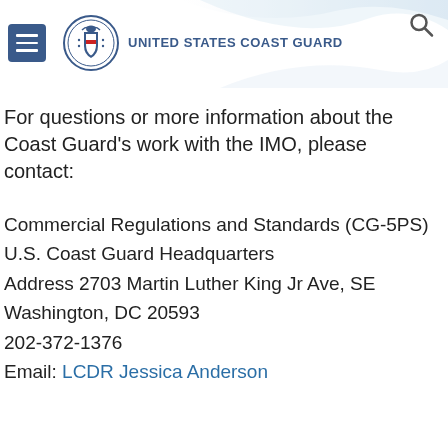United States Coast Guard
For questions or more information about the Coast Guard's work with the IMO, please contact:
Commercial Regulations and Standards (CG-5PS)
U.S. Coast Guard Headquarters
Address 2703 Martin Luther King Jr Ave, SE
Washington, DC 20593
202-372-1376
Email: LCDR Jessica Anderson